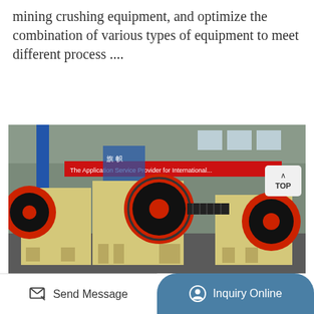mining crushing equipment, and optimize the combination of various types of equipment to meet different process ....
Get Price →
[Figure (photo): Industrial jaw crusher machines in yellow and red with large black flywheels, photographed inside a factory warehouse. A red banner in the background reads 'The Application Service Provider for International...' A 'TOP' navigation button is visible in the upper right corner of the image.]
Send Message
Inquiry Online